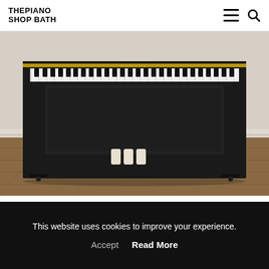THE PIANO SHOP BATH
[Figure (photo): A black Yamaha U1 upright piano photographed from the front, showing the lower half with pedals and legs on a wooden floor, against a light beige wall.]
Yamaha U1 Traditionally Styled Painted Upright Piano
This website uses cookies to improve your experience.
Accept  Read More